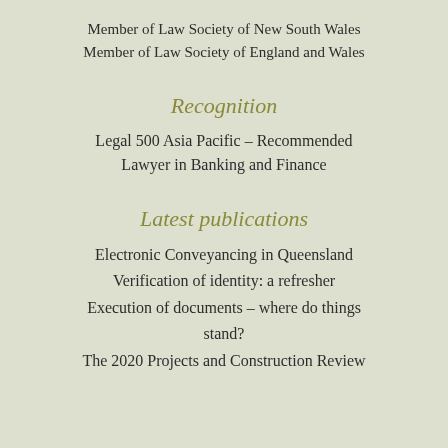Member of Law Society of New South Wales
Member of Law Society of England and Wales
Recognition
Legal 500 Asia Pacific – Recommended Lawyer in Banking and Finance
Latest publications
Electronic Conveyancing in Queensland
Verification of identity: a refresher
Execution of documents – where do things stand?
The 2020 Projects and Construction Review